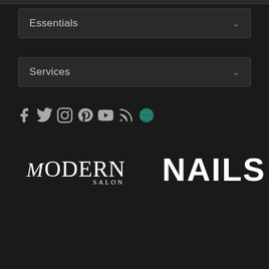Essentials
Services
[Figure (other): Social media icons: Facebook, Twitter, Instagram, Pinterest, YouTube, RSS, and a teal globe/world icon]
[Figure (logo): Modern Salon logo in white serif text]
[Figure (logo): Nails magazine logo in white bold sans-serif text]